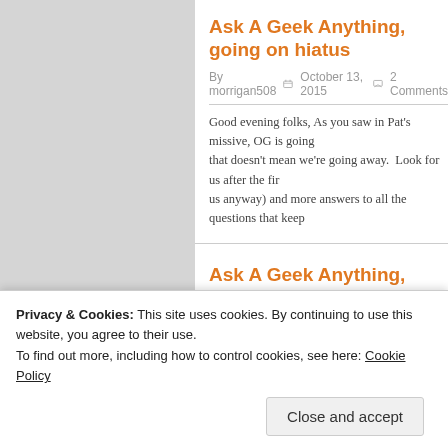Ask A Geek Anything, going on hiatus
By morrigan508  October 13, 2015  2 Comments
Good evening folks, As you saw in Pat's missive, OG is going that doesn't mean we're going away.  Look for us after the firs us anyway) and more answers to all the questions that keep
Ask A Geek Anything, Volume 26
By morrigan508  October 8, 2015  Leave a comment
Good morning, and welcome to Ask a Geek Anything volume interwebs where we'll answer anything that won't get us told Century City... (OK that's a lie too, we've answered several t
Privacy & Cookies: This site uses cookies. By continuing to use this website, you agree to their use.
To find out more, including how to control cookies, see here: Cookie Policy